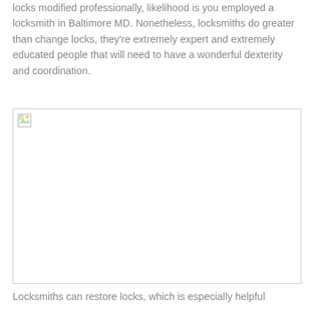locks modified professionally, likelihood is you employed a locksmith in Baltimore MD. Nonetheless, locksmiths do greater than change locks, they're extremely expert and extremely educated people that will need to have a wonderful dexterity and coordination.
[Figure (photo): Broken/missing image placeholder with small image icon in top-left corner]
Locksmiths can restore locks, which is especially helpful